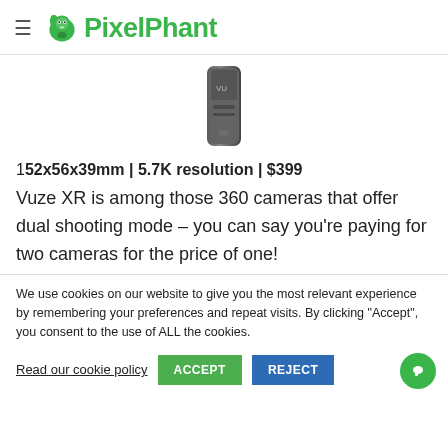PixelPhant
[Figure (photo): A small dark cylindrical 360 camera (Vuze XR) shown against white background]
152x56x39mm | 5.7K resolution | $399
Vuze XR is among those 360 cameras that offer dual shooting mode – you can say you're paying for two cameras for the price of one!
We use cookies on our website to give you the most relevant experience by remembering your preferences and repeat visits. By clicking "Accept", you consent to the use of ALL the cookies.
Read our cookie policy  ACCEPT  REJECT